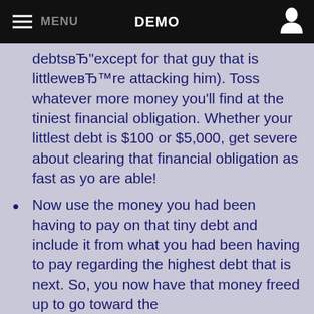DEMO
debtsвЂ"except for that guy that is littleweвЂ™re attacking him). Toss whatever more money you'll find at the tiniest financial obligation. Whether your littlest debt is $100 or $5,000, get severe about clearing that financial obligation as fast as yo are able!
Now use the money you had been having to pay on that tiny debt and include it from what you had been having to pay regarding the highest debt that is next. So, you now have that money freed up to go toward the